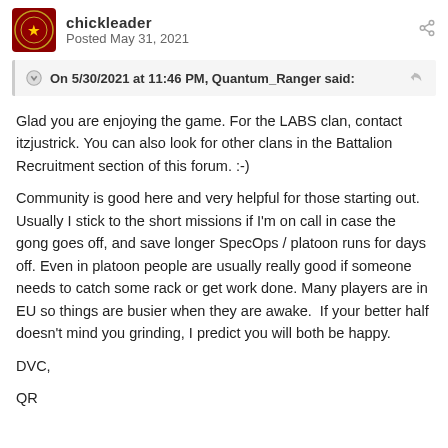chickleader · Posted May 31, 2021
On 5/30/2021 at 11:46 PM, Quantum_Ranger said:
Glad you are enjoying the game. For the LABS clan, contact itzjustrick. You can also look for other clans in the Battalion Recruitment section of this forum. :-)
Community is good here and very helpful for those starting out.  Usually I stick to the short missions if I'm on call in case the gong goes off, and save longer SpecOps / platoon runs for days off. Even in platoon people are usually really good if someone needs to catch some rack or get work done. Many players are in EU so things are busier when they are awake.  If your better half doesn't mind you grinding, I predict you will both be happy.
DVC,
QR